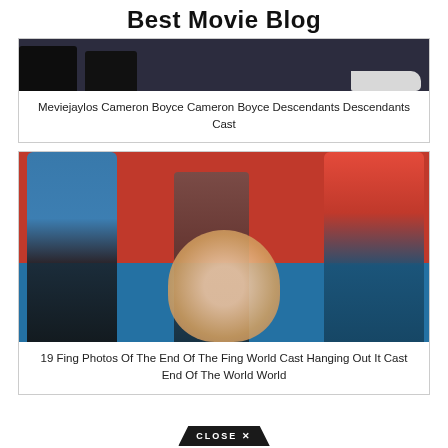Best Movie Blog
[Figure (photo): Bottom halves of people standing, dark background showing legs and white sneakers]
Meviejaylos Cameron Boyce Cameron Boyce Descendants Descendants Cast
[Figure (photo): Three teenagers posing against an orange and blue background. Left person in blue shirt, right person in red floral Hawaiian shirt, center person (girl) sitting with blonde hair in floral top.]
19 Fing Photos Of The End Of The Fing World Cast Hanging Out It Cast End Of The World World
CLOSE ✕